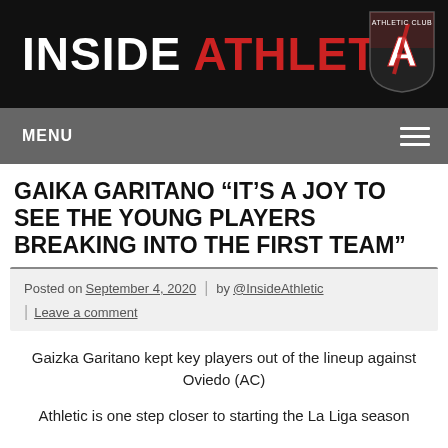INSIDE ATHLETIC
MENU
GAIKA GARITANO “IT’S A JOY TO SEE THE YOUNG PLAYERS BREAKING INTO THE FIRST TEAM”
Posted on September 4, 2020 | by @InsideAthletic | Leave a comment
Gaizka Garitano kept key players out of the lineup against Oviedo (AC)
Athletic is one step closer to starting the La Liga season